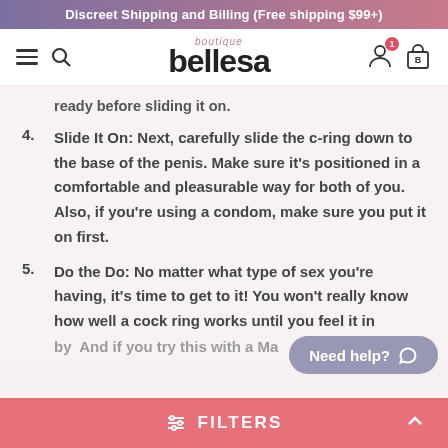Discreet Shipping and Billing (Free shipping $99+)
[Figure (logo): Bellesa Boutique logo with hamburger menu, search icon, user icon with notification badge, and shopping bag icon]
ready before sliding it on.
4. Slide It On: Next, carefully slide the c-ring down to the base of the penis. Make sure it's positioned in a comfortable and pleasurable way for both of you. Also, if you're using a condom, make sure you put it on first.
5. Do the Do: No matter what type of sex you're having, it's time to get to it! You won't really know how well a cock ring works until you feel it in
Need help?
FILTERS